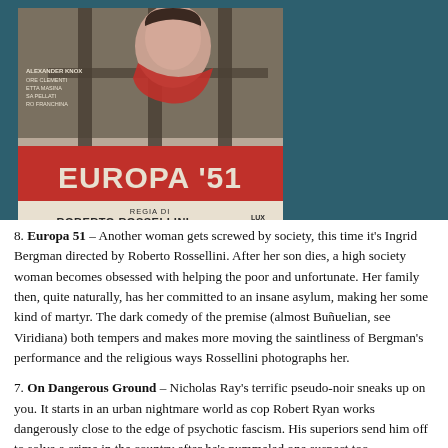[Figure (photo): Movie poster for Europa 51, directed by Roberto Rossellini. Shows a woman with red scarf against prison-bar-like vertical lines. Text reads: ALEXANDER KNOX, REGIA DI ROBERTO ROSSELLINI, LUX FILM, Un film PONTI-DE LAURENTIIS, Distribuzione LUX FILM.]
8. Europa 51 – Another woman gets screwed by society, this time it's Ingrid Bergman directed by Roberto Rossellini. After her son dies, a high society woman becomes obsessed with helping the poor and unfortunate. Her family then, quite naturally, has her committed to an insane asylum, making her some kind of martyr. The dark comedy of the premise (almost Buñuelian, see Viridiana) both tempers and makes more moving the saintliness of Bergman's performance and the religious ways Rossellini photographs her.
7. On Dangerous Ground – Nicholas Ray's terrific pseudo-noir sneaks up on you. It starts in an urban nightmare world as cop Robert Ryan works dangerously close to the edge of psychotic fascism. His superiors send him off to solve a crime in the country after he's pummeled one suspect too